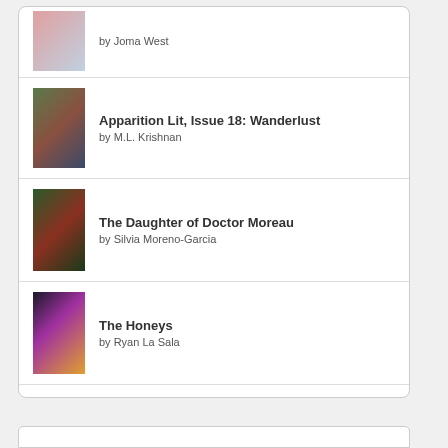by Joma West
Apparition Lit, Issue 18: Wanderlust by M.L. Krishnan
The Daughter of Doctor Moreau by Silvia Moreno-Garcia
The Honeys by Ryan La Sala
[Figure (logo): goodreads logo button with rounded rectangle border]